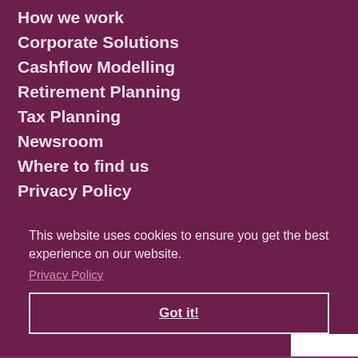How we work
Corporate Solutions
Cashflow Modelling
Retirement Planning
Tax Planning
Newsroom
Where to find us
Privacy Policy
This website uses cookies to ensure you get the best experience on our website.
Privacy Policy
Got it!